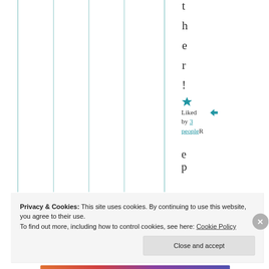t h e r !
[Figure (infographic): Teal star icon (liked/favorite button)]
Liked by 3 people Reply
R e p
Privacy & Cookies: This site uses cookies. By continuing to use this website, you agree to their use. To find out more, including how to control cookies, see here: Cookie Policy
Close and accept
[Figure (infographic): Colorful horizontal image strip at the bottom of the page]